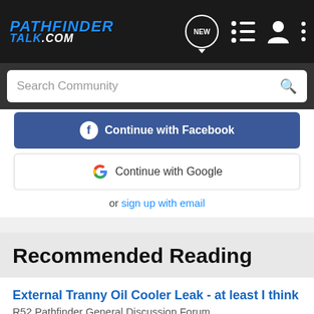PATHFINDER TALK.COM
Search Community
Continue with Facebook
Continue with Google
or sign up with email
Recommended Reading
External Tranny Oil Cooler Leak - at least I think
R52 Pathfinder General Discussion Forum
0
[Figure (photo): Advertisement for The New 2022 Silverado by Chevrolet with Explore button]